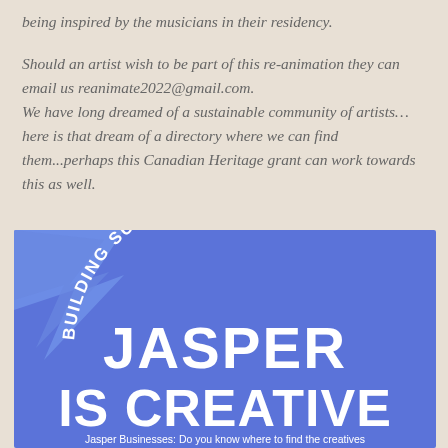being inspired by the musicians in their residency.
Should an artist wish to be part of this re-animation they can email us reanimate2022@gmail.com. We have long dreamed of a sustainable community of artists…here is that dream of a directory where we can find them...perhaps this Canadian Heritage grant can work towards this as well.
[Figure (illustration): Blue promotional graphic with an arrow icon in the top-left corner, curved text reading 'BUILDING SUSTAINABILITY' at the top in white, large bold white text 'JASPER' and 'IS CREATIVE' in the center, and a tagline at the bottom reading 'Jasper Businesses: Do you know where to find the creatives']